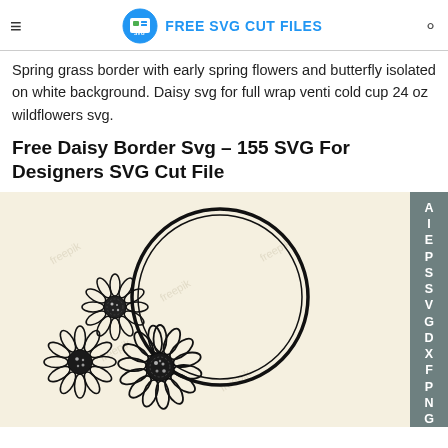FREE SVG CUT FILES
Spring grass border with early spring flowers and butterfly isolated on white background. Daisy svg for full wrap venti cold cup 24 oz wildflowers svg.
Free Daisy Border Svg – 155 SVG For Designers SVG Cut File
[Figure (illustration): A daisy flower wreath SVG illustration: a circular ring with detailed daisy flowers clustered at the bottom-left of the circle, on a light cream background with faint watermark text. A vertical sidebar on the right lists file format labels: AI, EPS, SVG, DXF, PNG, J (cut off).]